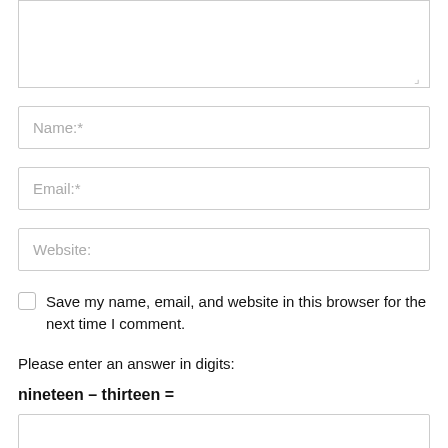[Figure (screenshot): Textarea input box (bottom portion visible, with resize handle in bottom-right corner)]
Name:*
Email:*
Website:
Save my name, email, and website in this browser for the next time I comment.
Please enter an answer in digits:
[Figure (screenshot): Empty answer input field for the math CAPTCHA question]